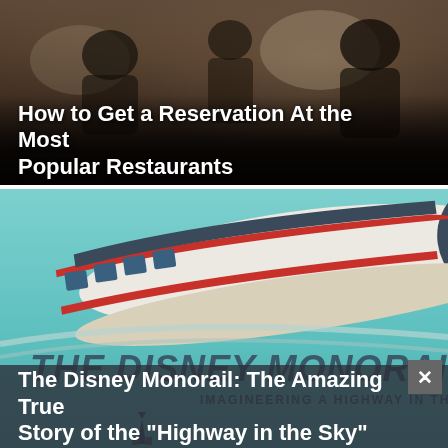[Figure (photo): Restaurant interior scene with diners and waitstaff, warm dark ambiance]
How to Get a Reservation At the Most Popular Restaurants
[Figure (illustration): Disney Monorail illustration on teal/turquoise background with text 'THE DISNEY MONORAIL. IMAGINEERING A HIGHWAY IN THE SKY']
The Disney Monorail: The Amazing True Story of the "Highway in the Sky"